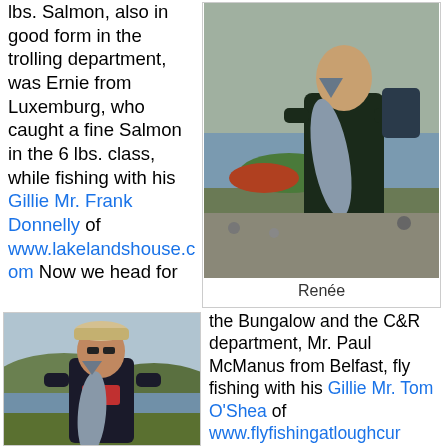lbs. Salmon, also in good form in the trolling department, was Ernie from Luxemburg, who caught a fine Salmon in the 6 lbs. class, while fishing with his Gillie Mr. Frank Donnelly of www.lakelandshouse.com Now we head for
[Figure (photo): Man holding a large salmon fish, standing near boats and water, outdoor lakeside setting]
Renée
[Figure (photo): Man holding a sea trout fish, standing outdoors with hills and water in background, wearing a cap]
the Bungalow and the C&R department, Mr. Paul McManus from Belfast, fly fishing with his Gillie Mr. Tom O'Shea of www.flyfishingatloughcurrane.com caught 3 Sea Trout, 1 lbs. 2lbs. 3lbs.